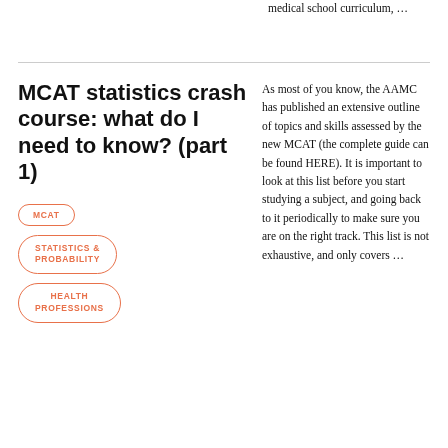medical school curriculum, …
MCAT statistics crash course: what do I need to know? (part 1)
MCAT
STATISTICS & PROBABILITY
HEALTH PROFESSIONS
As most of you know, the AAMC has published an extensive outline of topics and skills assessed by the new MCAT (the complete guide can be found HERE). It is important to look at this list before you start studying a subject, and going back to it periodically to make sure you are on the right track. This list is not exhaustive, and only covers …